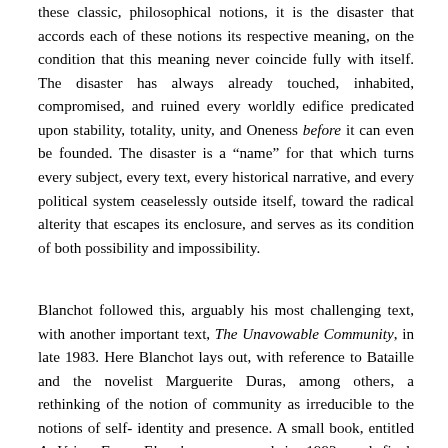these classic, philosophical notions, it is the disaster that accords each of these notions its respective meaning, on the condition that this meaning never coincide fully with itself. The disaster has always already touched, inhabited, compromised, and ruined every worldly edifice predicated upon stability, totality, unity, and Oneness before it can even be founded. The disaster is a “name” for that which turns every subject, every text, every historical narrative, and every political system ceaselessly outside itself, toward the radical alterity that escapes its enclosure, and serves as its condition of both possibility and impossibility.
Blanchot followed this, arguably his most challenging text, with another important text, The Unavowable Community, in late 1983. Here Blanchot lays out, with reference to Bataille and the novelist Marguerite Duras, among others, a rethinking of the notion of community as irreducible to the notions of self-identity and presence. A small book, entitled A Voice From Elsewhere, appeared in 1992, and final, striking piece of short